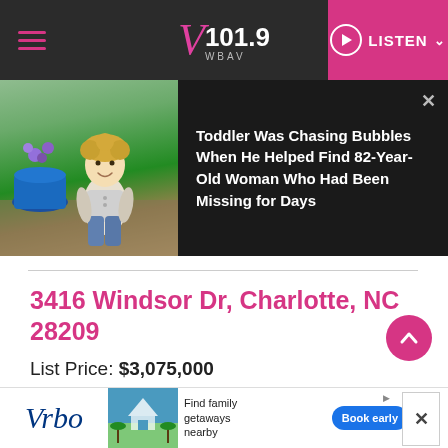V101.9 WBAV | LISTEN
[Figure (photo): Toddler sitting outside near a large blue pot with purple flowers]
Toddler Was Chasing Bubbles When He Helped Find 82-Year-Old Woman Who Had Been Missing for Days
3416 Windsor Dr, Charlotte, NC 28209
List Price: $3,075,000
If space is what you need then this 6 bed/6
[Figure (screenshot): Vrbo advertisement banner - Find family getaways nearby, Book early]